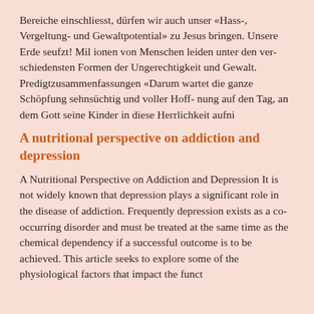Bereiche einschliesst, dürfen wir auch unser «Hass-, Vergeltung- und Gewaltpotential» zu Jesus bringen. Unsere Erde seufzt! Mil ionen von Menschen leiden unter den ver- schiedensten Formen der Ungerechtigkeit und Gewalt. Predigtzusammenfassungen «Darum wartet die ganze Schöpfung sehnsüchtig und voller Hoff- nung auf den Tag, an dem Gott seine Kinder in diese Herrlichkeit aufni
A nutritional perspective on addiction and depression
A Nutritional Perspective on Addiction and Depression It is not widely known that depression plays a significant role in the disease of addiction. Frequently depression exists as a co-occurring disorder and must be treated at the same time as the chemical dependency if a successful outcome is to be achieved. This article seeks to explore some of the physiological factors that impact the funct